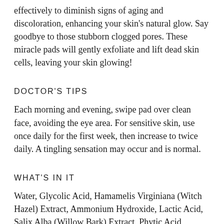effectively to diminish signs of aging and discoloration, enhancing your skin's natural glow. Say goodbye to those stubborn clogged pores. These miracle pads will gently exfoliate and lift dead skin cells, leaving your skin glowing!
DOCTOR'S TIPS
Each morning and evening, swipe pad over clean face, avoiding the eye area. For sensitive skin, use once daily for the first week, then increase to twice daily. A tingling sensation may occur and is normal.
WHAT'S IN IT
Water, Glycolic Acid, Hamamelis Virginiana (Witch Hazel) Extract, Ammonium Hydroxide, Lactic Acid, Salix Alba (Willow Bark) Extract, Phytic Acid, Tartaric Acid, Salicylic Acid Phospholipids, Retinyl Palmitate, Ascorbyl Palmitate, Tocopheryl Acetate, Cucumis Sativus (Cucumber) Extract,